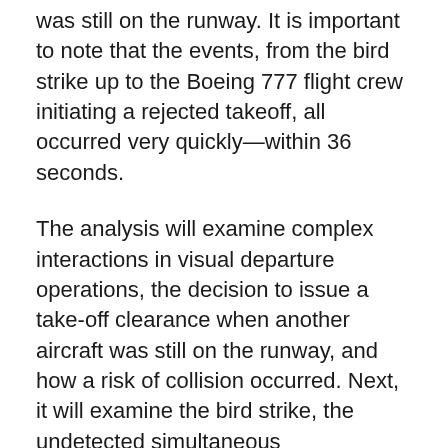was still on the runway. It is important to note that the events, from the bird strike up to the Boeing 777 flight crew initiating a rejected takeoff, all occurred very quickly—within 36 seconds.
The analysis will examine complex interactions in visual departure operations, the decision to issue a take-off clearance when another aircraft was still on the runway, and how a risk of collision occurred. Next, it will examine the bird strike, the undetected simultaneous transmissions (USiT), and how the Embraer